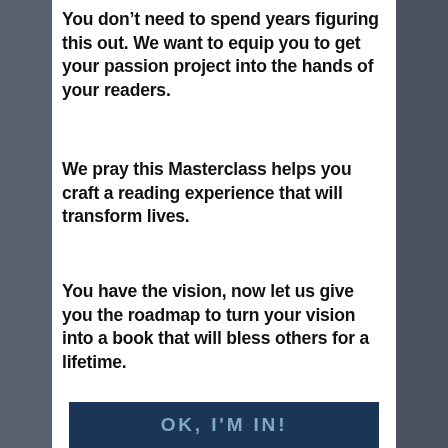You don’t need to spend years figuring this out. We want to equip you to get your passion project into the hands of your readers.
We pray this Masterclass helps you craft a reading experience that will transform lives.
You have the vision, now let us give you the roadmap to turn your vision into a book that will bless others for a lifetime.
OK, I'M IN!